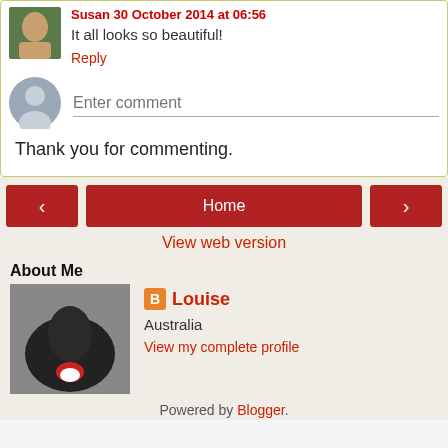It all looks so beautiful!
Reply
Enter comment
Thank you for commenting.
< (previous)
Home
> (next)
View web version
About Me
Louise
Australia
View my complete profile
Powered by Blogger.